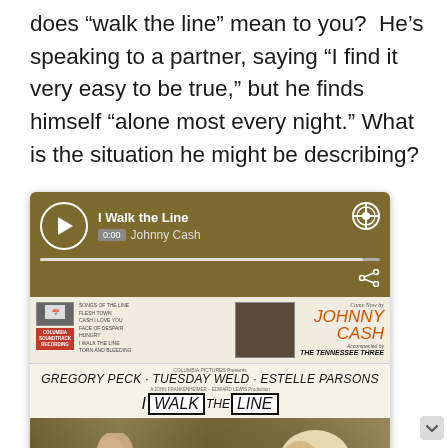does “walk the line” mean to you?  He’s speaking to a partner, saying “I find it very easy to be true,” but he finds himself “alone most every night.” What is the situation he might be describing?
[Figure (screenshot): Spotify music player showing 'I Walk the Line' by Johnny Cash at 0:00, followed by an album cover image for the movie 'I Walk the Line' featuring Gregory Peck, Tuesday Weld, Estelle Parsons, with Johnny Cash and The Tennessee Three credit, and a movie scene showing two people facing each other.]